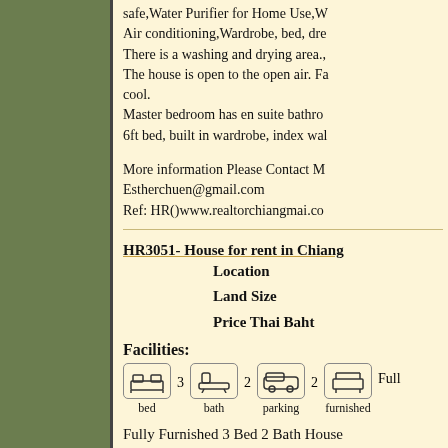safe,Water Purifier for Home Use,W... Air conditioning,Wardrobe, bed, dre... There is a washing and drying area.,The house is open to the open air. Fa... cool. Master bedroom has en suite bathro... 6ft bed, built in wardrobe, index wal...
More information Please Contact M... Estherchuen@gmail.com Ref: HR()www.realtorchiangmai.co...
HR3051- House for rent in Chiang...
Location
Land Size
Price Thai Baht
Facilities:
bed 3  bath 2  parking 2  furnished Full
Fully Furnished 3 Bed 2 Bath House... Thailand